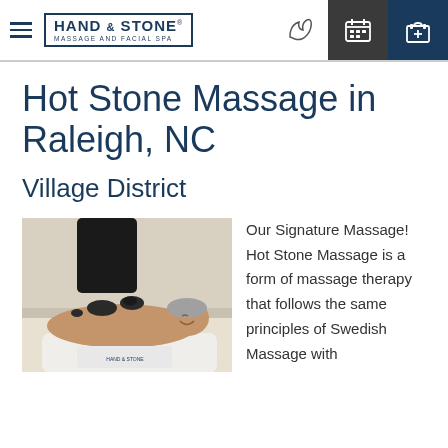Hand & Stone Massage and Facial Spa — navigation header with hamburger menu, logo, phone icon, calendar icon, gift icon
Hot Stone Massage in Raleigh, NC
Village District
[Figure (photo): A man lying face-down on a massage table smiling, receiving a hot stone massage from a therapist in black clothing who is placing dark stones on his back/shoulder area. A Hand & Stone branded pillow is visible.]
Our Signature Massage! Hot Stone Massage is a form of massage therapy that follows the same principles of Swedish Massage with